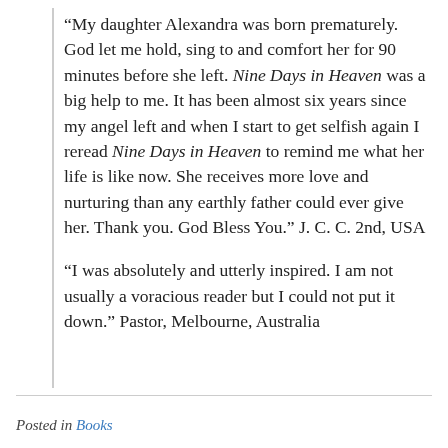“My daughter Alexandra was born prematurely. God let me hold, sing to and comfort her for 90 minutes before she left. Nine Days in Heaven was a big help to me. It has been almost six years since my angel left and when I start to get selfish again I reread Nine Days in Heaven to remind me what her life is like now. She receives more love and nurturing than any earthly father could ever give her. Thank you. God Bless You.” J. C. C. 2nd, USA
“I was absolutely and utterly inspired. I am not usually a voracious reader but I could not put it down.” Pastor, Melbourne, Australia
Posted in Books